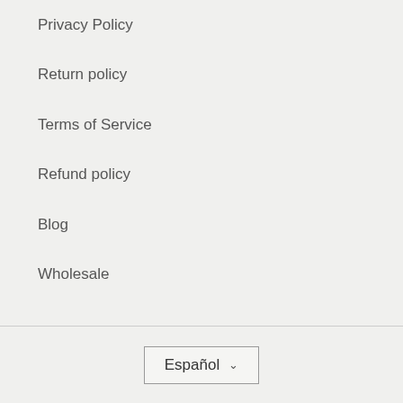Privacy Policy
Return policy
Terms of Service
Refund policy
Blog
Wholesale
Español